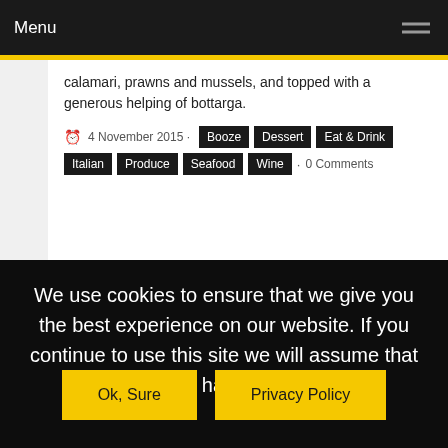Menu
calamari, prawns and mussels, and topped with a generous helping of bottarga.
4 November 2015 · Booze · Dessert · Eat & Drink · Italian · Produce · Seafood · Wine · 0 Comments
We use cookies to ensure that we give you the best experience on our website. If you continue to use this site we will assume that you are happy with it.
Ok, Sure   Privacy Policy